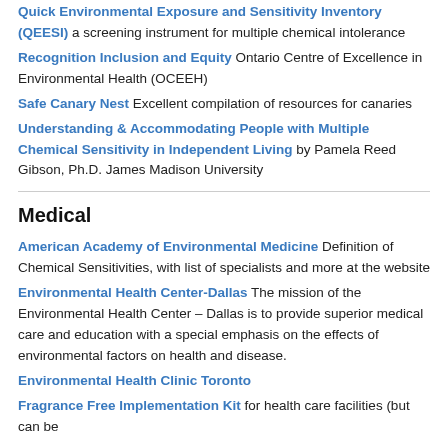Quick Environmental Exposure and Sensitivity Inventory (QEESI) a screening instrument for multiple chemical intolerance
Recognition Inclusion and Equity Ontario Centre of Excellence in Environmental Health (OCEEH)
Safe Canary Nest Excellent compilation of resources for canaries
Understanding & Accommodating People with Multiple Chemical Sensitivity in Independent Living by Pamela Reed Gibson, Ph.D. James Madison University
Medical
American Academy of Environmental Medicine Definition of Chemical Sensitivities, with list of specialists and more at the website
Environmental Health Center-Dallas The mission of the Environmental Health Center – Dallas is to provide superior medical care and education with a special emphasis on the effects of environmental factors on health and disease.
Environmental Health Clinic Toronto
Fragrance Free Implementation Kit for health care facilities (but can be